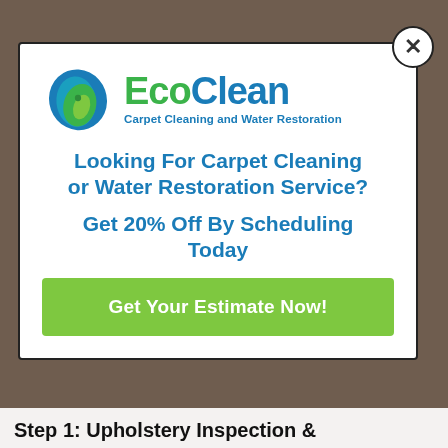[Figure (photo): Background photo of a reddish-brown blurred surface (upholstery or carpet), partially visible behind a modal popup overlay.]
[Figure (logo): EcoClean logo with a stylized leaf icon in blue and green and the text 'EcoClean' with tagline 'Carpet Cleaning and Water Restoration']
Looking For Carpet Cleaning or Water Restoration Service?
Get 20% Off By Scheduling Today
Get Your Estimate Now!
Step 1: Upholstery Inspection &